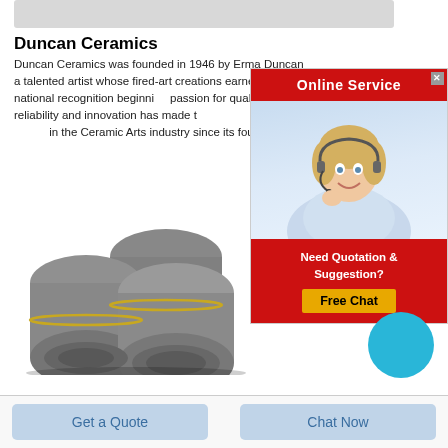[Figure (photo): Grey horizontal image bar placeholder at top of page]
Duncan Ceramics
Duncan Ceramics was founded in 1946 by Erma Duncan a talented artist whose fired-art creations earned national recognition beginning passion for quality reliability and innovation has made in the Ceramic Arts industry since its founding.
[Figure (infographic): Online Service advertisement overlay with red banner reading 'Online Service', photo of smiling woman with headset, red box with 'Need Quotation & Suggestion?' text, yellow 'Free Chat' button, and blue circle]
[Figure (photo): Three large grey cylindrical graphite electrode rolls stacked together]
Get a Quote
Chat Now